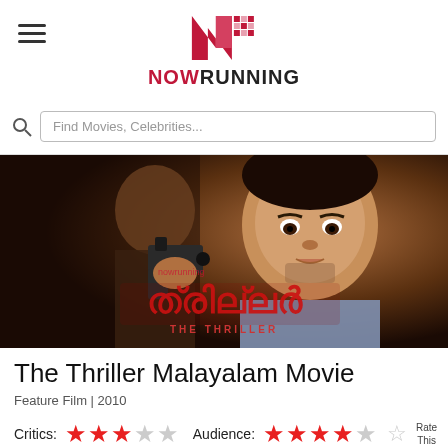NOWRUNNING
Find Movies, Celebrities...
[Figure (photo): Movie promotional poster for The Thriller Malayalam Movie (2010) showing two men, one aiming a gun at the camera, with Malayalam title text in red]
The Thriller Malayalam Movie
Feature Film | 2010
Critics: ★★★☆☆  Audience: ★★★★☆ ☆ Rate This